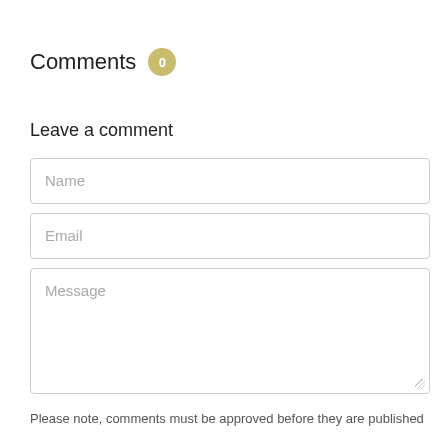Comments 0
Leave a comment
Name
Email
Message
Please note, comments must be approved before they are published